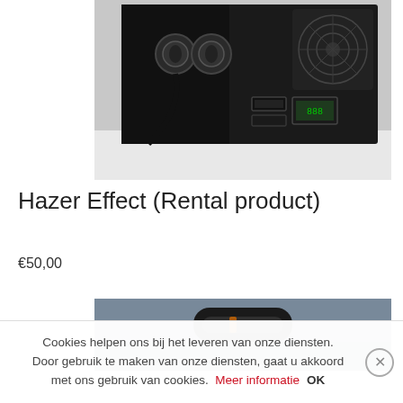[Figure (photo): Close-up photo of the back panel of a haze machine (Hazer Effect device) showing connectors, buttons, and a fan grille, in black and white tones.]
Hazer Effect (Rental product)
€50,00
[Figure (photo): Bottom portion of a second product photo showing the top handle of the Hazer Effect device on a gray surface.]
Cookies helpen ons bij het leveren van onze diensten. Door gebruik te maken van onze diensten, gaat u akkoord met ons gebruik van cookies. Meer informatie OK